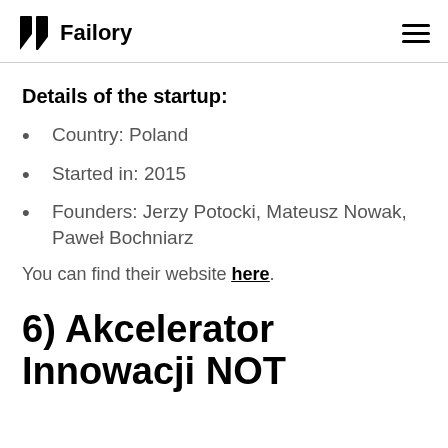Failory
Details of the startup:
Country: Poland
Started in: 2015
Founders: Jerzy Potocki, Mateusz Nowak, Paweł Bochniarz
You can find their website here.
6) Akcelerator Innowacji NOT